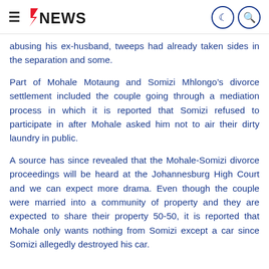1NEWS
abusing his ex-husband, tweeps had already taken sides in the separation and some.
Part of Mohale Motaung and Somizi Mhlongo’s divorce settlement included the couple going through a mediation process in which it is reported that Somizi refused to participate in after Mohale asked him not to air their dirty laundry in public.
A source has since revealed that the Mohale-Somizi divorce proceedings will be heard at the Johannesburg High Court and we can expect more drama. Even though the couple were married into a community of property and they are expected to share their property 50-50, it is reported that Mohale only wants nothing from Somizi except a car since Somizi allegedly destroyed his car.